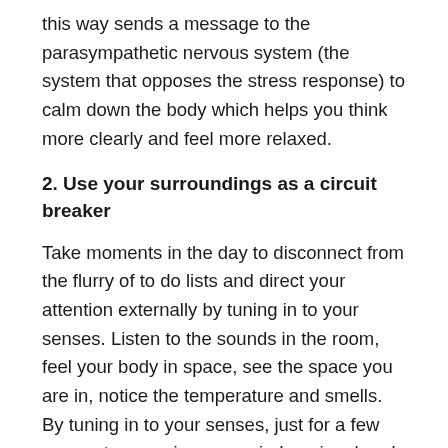this way sends a message to the parasympathetic nervous system (the system that opposes the stress response) to calm down the body which helps you think more clearly and feel more relaxed.
2. Use your surroundings as a circuit breaker
Take moments in the day to disconnect from the flurry of to do lists and direct your attention externally by tuning in to your senses. Listen to the sounds in the room, feel your body in space, see the space you are in, notice the temperature and smells. By tuning in to your senses, just for a few moments, you give your mind a micro break from the stress of thinking.